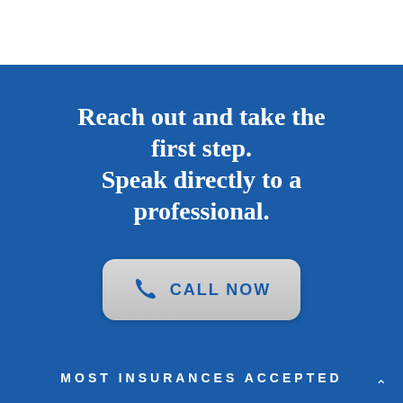Reach out and take the first step. Speak directly to a professional.
[Figure (other): Call Now button with phone icon, light gray rounded rectangle button on blue background]
MOST INSURANCES ACCEPTED